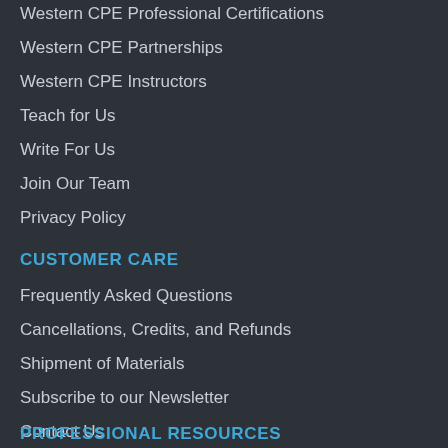Western CPE Professional Certifications
Western CPE Partnerships
Western CPE Instructors
Teach for Us
Write For Us
Join Our Team
Privacy Policy
CUSTOMER CARE
Frequently Asked Questions
Cancellations, Credits, and Refunds
Shipment of Materials
Subscribe to our Newsletter
Contact Us
PROFESSIONAL RESOURCES